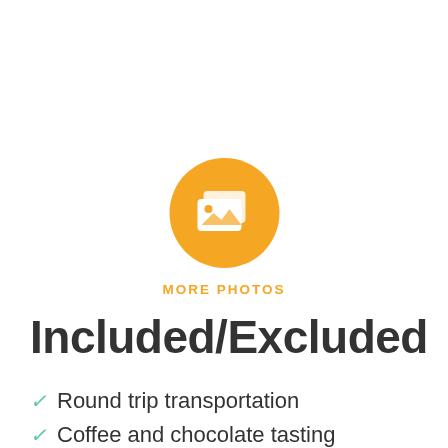[Figure (illustration): Orange circle icon containing a white photo/gallery icon (stacked photos with mountain/landscape motif)]
MORE PHOTOS
Included/Excluded
✓ Round trip transportation
✓ Coffee and chocolate tasting